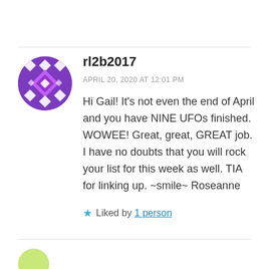rl2b2017
APRIL 20, 2020 AT 12:01 PM
Hi Gail! It's not even the end of April and you have NINE UFOs finished. WOWEE! Great, great, GREAT job. I have no doubts that you will rock your list for this week as well. TIA for linking up. ~smile~ Roseanne
Liked by 1 person